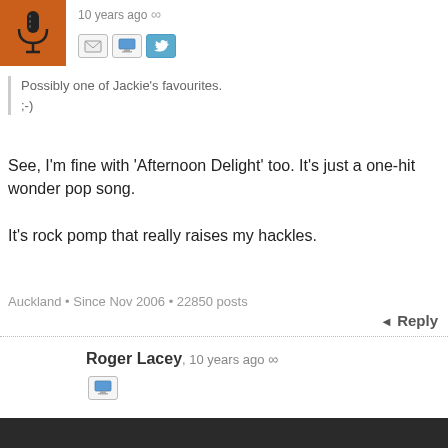10 years ago ∞
Possibly one of Jackie's favourites.
;-)
See, I'm fine with 'Afternoon Delight' too. It's just a one-hit wonder pop song.

It's rock pomp that really raises my hackles.
Auckland • Since Nov 2006 • 22850 posts
Reply
Roger Lacey, 10 years ago ∞
[Figure (screenshot): Video unavailable embedded video player with dark background]